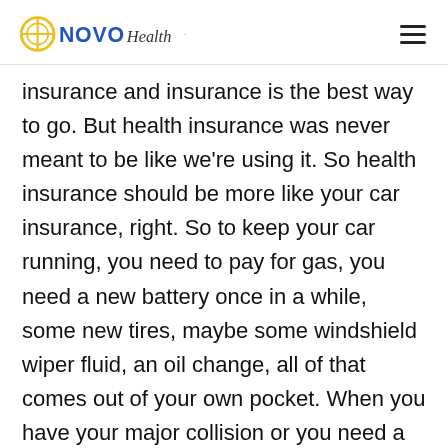NOVO Health
insurance and insurance is the best way to go. But health insurance was never meant to be like we're using it. So health insurance should be more like your car insurance, right. So to keep your car running, you need to pay for gas, you need a new battery once in a while, some new tires, maybe some windshield wiper fluid, an oil change, all of that comes out of your own pocket. When you have your major collision or you need a new tranny all of a sudden, then that's when you're using your car